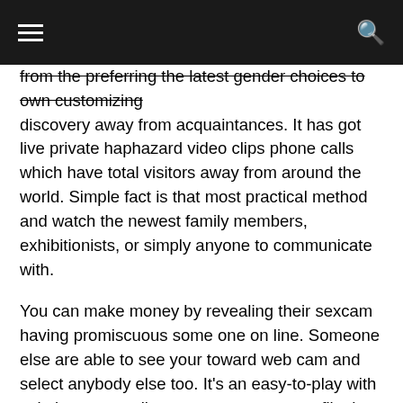☰  🔍
from the preferring the latest gender choices to own customizing discovery away from acquaintances. It has got live private haphazard video clips phone calls which have total visitors away from around the world. Simple fact is that most practical method and watch the newest family members, exhibitionists, or simply anyone to communicate with.
You can make money by revealing their sexcam having promiscuous some one on line. Someone else are able to see your toward web cam and select anybody else too. It's an easy-to-play with solution you to allows pages create a profile that will help almost every other app pages to locate them. The new app and additionally lets an individual so you're able to begin speak or name instructions with other users near the area in the course of establishing the decision otherwise chat lesson.